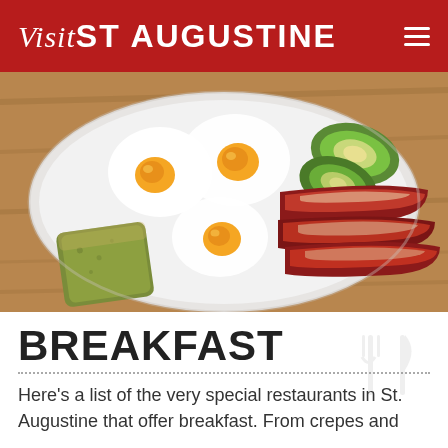Visit St Augustine
[Figure (photo): Overhead view of a breakfast plate on a wooden table featuring three fried eggs with bright orange yolks, strips of crispy bacon, sliced avocado, and a piece of green herb bread/toast.]
BREAKFAST
Here's a list of the very special restaurants in St. Augustine that offer breakfast. From crepes and